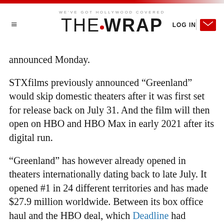WE'VE GOT HOLLYWOOD COVERED | THE WRAP | LOG IN
announced Monday.
STXfilms previously announced “Greenland” would skip domestic theaters after it was first set for release back on July 31. And the film will then open on HBO and HBO Max in early 2021 after its digital run.
“Greenland” has however already opened in theaters internationally dating back to late July. It opened #1 in 24 different territories and has made $27.9 million worldwide. Between its box office haul and the HBO deal, which Deadline had reported is between a whopping $20-30 million, “Greenland” has already brought in $45 million in revenue for STX on a $35